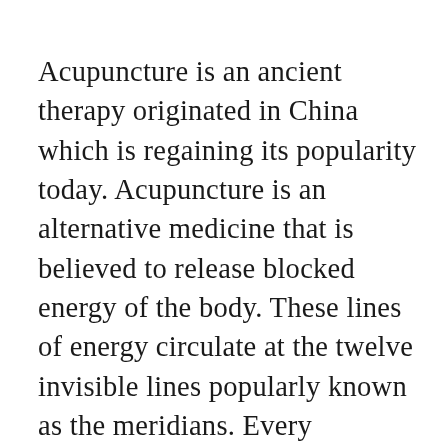Acupuncture is an ancient therapy originated in China which is regaining its popularity today. Acupuncture is an alternative medicine that is believed to release blocked energy of the body. These lines of energy circulate at the twelve invisible lines popularly known as the meridians. Every meridian is connected to different organs of the body system and that is why the needles inserted to every meridian can